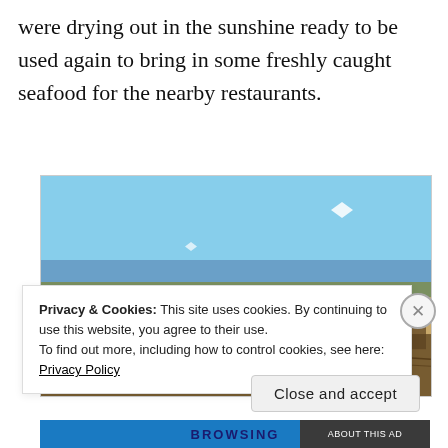were drying out in the sunshine ready to be used again to bring in some freshly caught seafood for the nearby restaurants.
[Figure (photo): A coastal landscape with sand dunes, a wooden boardwalk, blue sea, green hills with white buildings in the background, and kites flying in a clear blue sky.]
Privacy & Cookies: This site uses cookies. By continuing to use this website, you agree to their use.
To find out more, including how to control cookies, see here: Privacy Policy
Close and accept